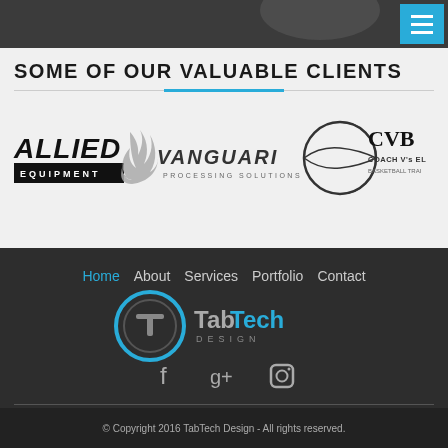[Figure (screenshot): Dark blurred top banner image]
[Figure (logo): Hamburger menu button in cyan/blue]
SOME OF OUR VALUABLE CLIENTS
[Figure (logo): Allied Equipment logo with flame icon]
[Figure (logo): Vanguari Processing Solutions logo]
[Figure (logo): CVB Coach V's Elite basketball training logo (partially visible)]
Home  About  Services  Portfolio  Contact
[Figure (logo): TabTech Design logo with circular T icon]
[Figure (illustration): Social media icons: Facebook, Google+, Instagram]
© Copyright 2016 TabTech Design - All rights reserved.